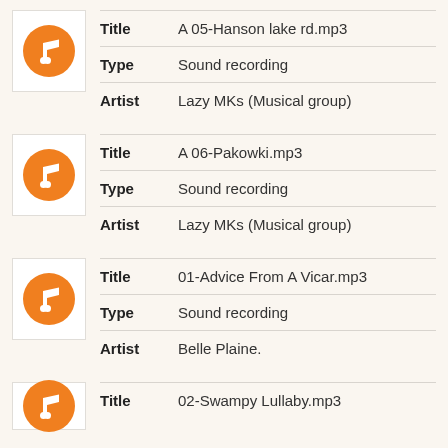| Field | Value |
| --- | --- |
| Title | A 05-Hanson lake rd.mp3 |
| Type | Sound recording |
| Artist | Lazy MKs (Musical group) |
| Field | Value |
| --- | --- |
| Title | A 06-Pakowki.mp3 |
| Type | Sound recording |
| Artist | Lazy MKs (Musical group) |
| Field | Value |
| --- | --- |
| Title | 01-Advice From A Vicar.mp3 |
| Type | Sound recording |
| Artist | Belle Plaine. |
| Field | Value |
| --- | --- |
| Title | 02-Swampy Lullaby.mp3 |